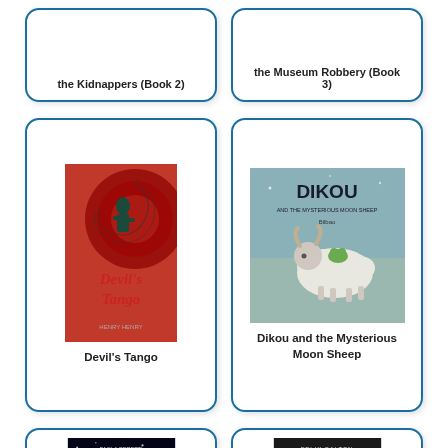[Figure (illustration): Book cover card (top, cropped) - the Kidnappers (Book 2)]
the Kidnappers (Book 2)
[Figure (illustration): Book cover card (top, cropped) - the Museum Robbery (Book 3)]
the Museum Robbery (Book 3)
[Figure (illustration): Book cover card - Devil's Tango]
Devil's Tango
[Figure (illustration): Book cover card - Dikou and the Mysterious Moon Sheep]
Dikou and the Mysterious Moon Sheep
[Figure (illustration): Book cover card (bottom, cropped) - The Distance Between Me and the Cherry]
[Figure (illustration): Book cover card (bottom, cropped) - Djibi by Felix Salten]